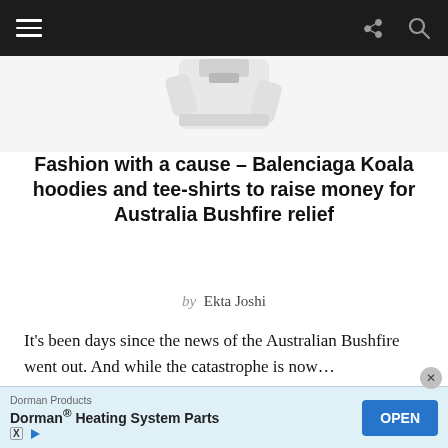Navigation bar with hamburger menu, share icon, and search icon
[Figure (photo): Partial view of white hoodie/clothing item on white background]
Fashion with a cause – Balenciaga Koala hoodies and tee-shirts to raise money for Australia Bushfire relief
by  Ekta Joshi
It’s been days since the news of the Australian Bushfire went out. And while the catastrophe is now…
[Figure (photo): Close-up of a hand holding a black bag with red Balenciaga logo against a blue background]
Dorman Products
Dorman® Heating System Parts
Ad banner: Dorman Products – Dorman® Heating System Parts – OPEN button